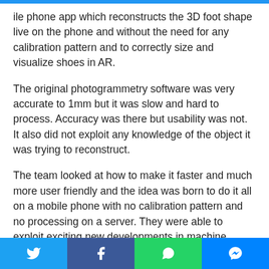…bile phone app which reconstructs the 3D foot shape live on the phone and without the need for any calibration pattern and to correctly size and visualize shoes in AR.
The original photogrammetry software was very accurate to 1mm but it was slow and hard to process. Accuracy was there but usability was not. It also did not exploit any knowledge of the object it was trying to reconstruct.
The team looked at how to make it faster and much more user friendly and the idea was born to do it all on a mobile phone with no calibration pattern and no processing on a server. They were able to exploit exciting new developments in machine learning and
Twitter | Facebook | WhatsApp | Messenger